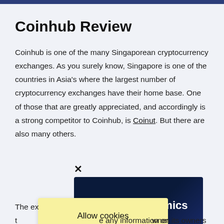Coinhub Review
Coinhub is one of the many Singaporean cryptocurrency exchanges. As you surely know, Singapore is one of the countries in Asia's where the largest number of cryptocurrency exchanges have their home base. One of those that are greatly appreciated, and accordingly is a strong competitor to Coinhub, is Coinut. But there are also many others.
[Figure (other): Close button (X) above a dark blue Funganomics advertisement banner, with a yellow 'Allow cookies' bar overlapping the left side.]
The ex... owner (Coin... e. This is... ies the... any information on its owners